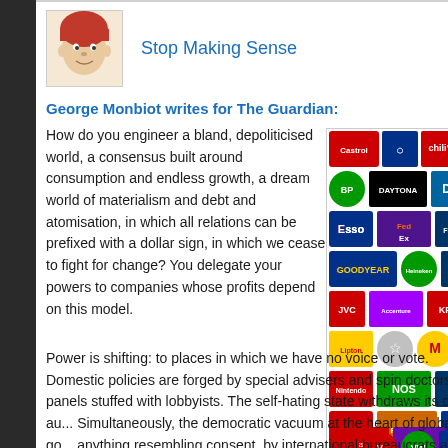Stop Making Sense
George Monbiot writes for The Guardian:
How do you engineer a bland, depoliticised world, a consensus built around consumption and endless growth, a dream world of materialism and debt and atomisation, in which all relations can be prefixed with a dollar sign, in which we cease to fight for change? You delegate your powers to companies whose profits depend on this model.
[Figure (illustration): A collage of well-known brand logos including Castrol, Chevron, Chili's, BP, Daytona, Dell, Esso, FedEx, Finlandia, Goodyear, Heineken, Alaska Airlines, JVC, Accenture, KFC, Lipton, Mercedes-Benz, McDonald's, Mitsubishi, Nintendo, NOS, Pizza Hut, PowerBar, RMP, Pepsi, Swissair, Taco Bell, Texaco, Virgin, Volkswagen, Walmart]
Power is shifting: to places in which we have no voice or vote. Domestic policies are forged by special advisers and spin doctors, by panels stuffed with lobbyists. The self-hating state withdraws its own au... Simultaneously, the democratic vacuum at the heart of global go... anything resembling consent, by international bureaucrats and c... permitted – often as an afterthought – to join them intelligibly re...